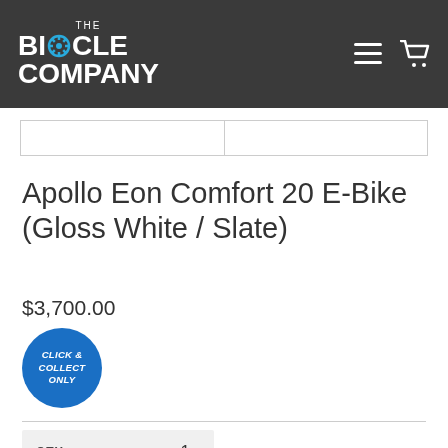[Figure (logo): The Bicycle Company logo - white text on dark background with gear icon replacing the 'i' in BICYCLE]
Apollo Eon Comfort 20 E-Bike (Gloss White / Slate)
$3,700.00
[Figure (infographic): Blue circular badge with white italic text: CLICK & COLLECT ONLY]
QTY   1
Add to Cart